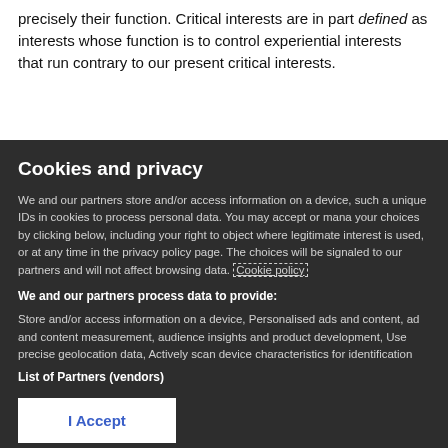precisely their function. Critical interests are in part defined as interests whose function is to control experiential interests that run contrary to our present critical interests.
Cookies and privacy
We and our partners store and/or access information on a device, such as unique IDs in cookies to process personal data. You may accept or manage your choices by clicking below, including your right to object where legitimate interest is used, or at any time in the privacy policy page. These choices will be signaled to our partners and will not affect browsing data. Cookie policy
We and our partners process data to provide:
Store and/or access information on a device, Personalised ads and content, ad and content measurement, audience insights and product development, Use precise geolocation data, Actively scan device characteristics for identification
List of Partners (vendors)